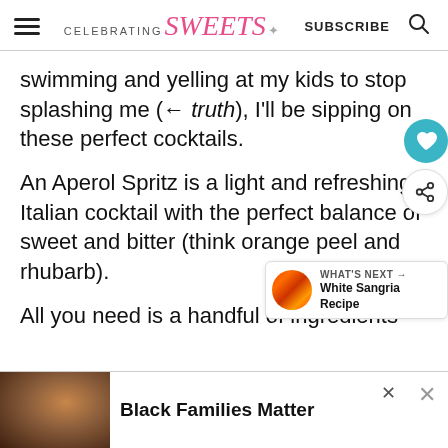CELEBRATING Sweets — SUBSCRIBE
swimming and yelling at my kids to stop splashing me (← truth), I'll be sipping on these perfect cocktails.
An Aperol Spritz is a light and refreshing Italian cocktail with the perfect balance of sweet and bitter (think orange peel and rhubarb).
All you need is a handful of ingredients
[Figure (other): Ad banner: Black family photo with text 'Black Families Matter']